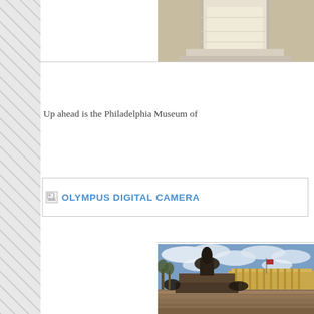[Figure (photo): Partial view of a white stone or marble structure (column/pedestal base), cropped at top of page]
Up ahead is the Philadelphia Museum of
[Figure (other): Broken image placeholder with alt text 'OLYMPUS DIGITAL CAMERA' shown as a link in blue uppercase text]
[Figure (photo): Large bronze equestrian statue (Washington Monument) with steps leading up, Philadelphia Museum of Art visible in background, cloudy sky]